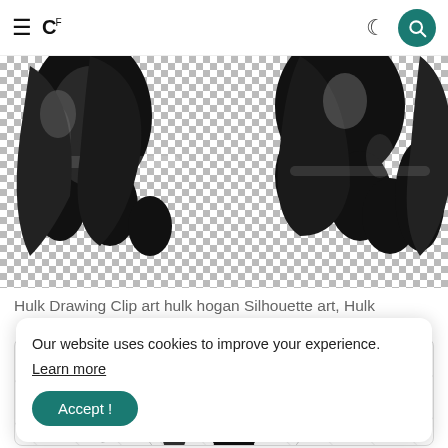≡ CF [logo] [moon icon] [search button]
[Figure (illustration): Hulk drawing clip art showing two large black fists/hands on a checkered (transparent) background]
Hulk Drawing Clip art hulk hogan Silhouette art, Hulk
[Figure (illustration): Card with diagonal lines background showing Hulk fighting illustration, partially visible, with watermark text]
Our website uses cookies to improve your experience. Learn more
Accept !